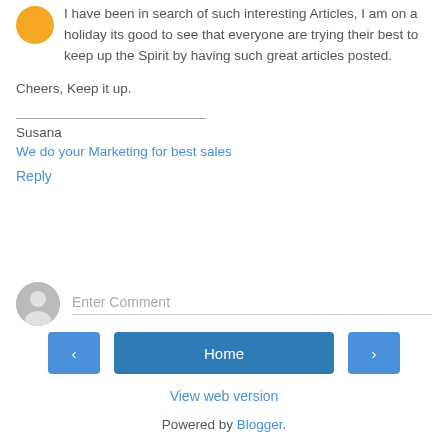I have been in search of such interesting Articles, I am on a holiday its good to see that everyone are trying their best to keep up the Spirit by having such great articles posted.
Cheers, Keep it up.
Susana
We do your Marketing for best sales
Reply
Enter Comment
Home
View web version
Powered by Blogger.